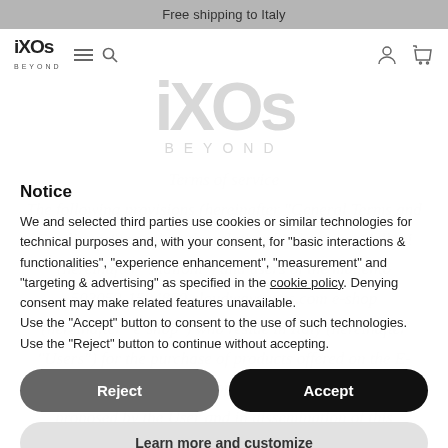Free shipping to Italy
[Figure (logo): iXOs BEYOND logo (small, top-left) and hamburger/search icons]
[Figure (logo): Large watermark iXOs BEYOND logo centered in page background]
Notice
We and selected third parties use cookies or similar technologies for technical purposes and, with your consent, for "basic interactions & functionalities", "experience enhancement", "measurement" and "targeting & advertising" as specified in the cookie policy. Denying consent may make related features unavailable.
Use the "Accept" button to consent to the use of such technologies. Use the "Reject" button to continue without accepting.
Reject
Accept
Learn more and customize